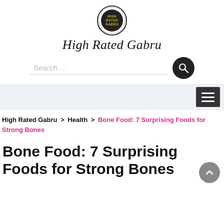[Figure (logo): High Rated Gabru circular logo with text inside]
High Rated Gabru
[Figure (other): Search bar with search button]
[Figure (other): Navigation bar with hamburger menu]
High Rated Gabru > Health > Bone Food: 7 Surprising Foods for Strong Bones
Bone Food: 7 Surprising Foods for Strong Bones